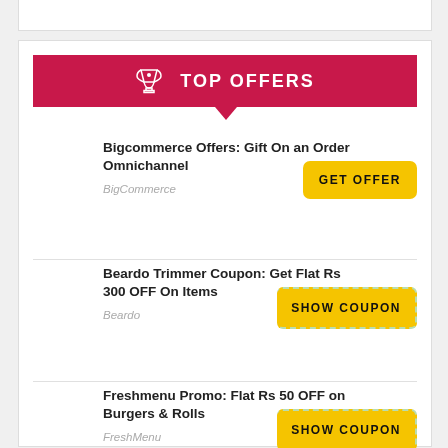TOP OFFERS
Bigcommerce Offers: Gift On an Order Omnichannel
BigCommerce
GET OFFER
Beardo Trimmer Coupon: Get Flat Rs 300 OFF On Items
Beardo
SHOW COUPON
Freshmenu Promo: Flat Rs 50 OFF on Burgers & Rolls
FreshMenu
SHOW COUPON